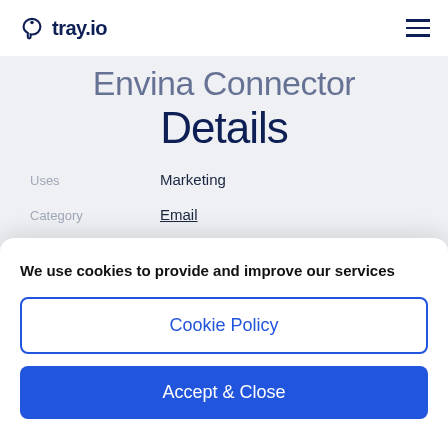tray.io
Envina Connector Details
Uses: Marketing
Category: Email
Connector type: Tray Connector
We use cookies to provide and improve our services
Cookie Policy
Accept & Close
HTTP request (advanced)